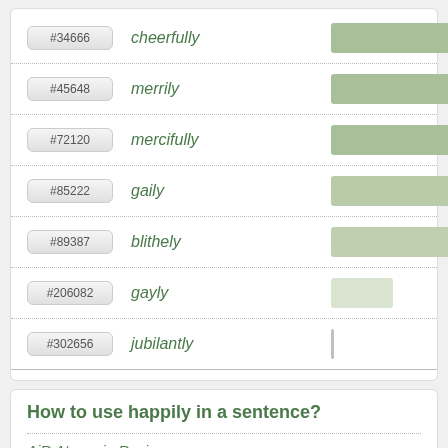[Figure (bar-chart): Word frequency chart]
How to use happily in a sentence?
AiR Atman in Ravi: